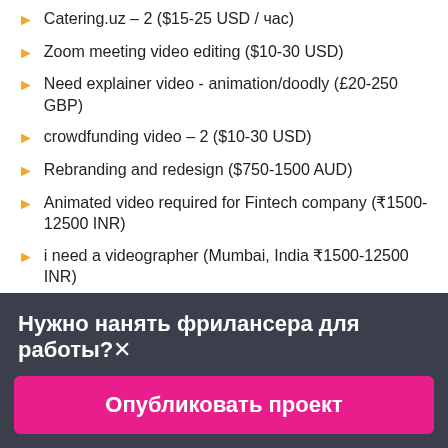Catering.uz – 2 ($15-25 USD / час)
Zoom meeting video editing ($10-30 USD)
Need explainer video - animation/doodly (£20-250 GBP)
crowdfunding video – 2 ($10-30 USD)
Rebranding and redesign ($750-1500 AUD)
Animated video required for Fintech company (₹1500-12500 INR)
i need a videographer (Mumbai, India ₹1500-12500 INR)
Turkish voice-over male actor (with the ability to record a few phrases with a female actress) ($12-18 EUR / час)
Нужно нанять фрилансера для работы?✕
Опубликовать проект